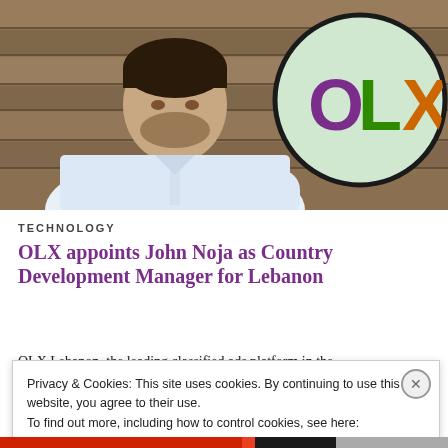[Figure (photo): Man in white shirt with arms crossed in front of OLX logo sign on wooden wall background]
TECHNOLOGY
OLX appoints John Noja as Country Development Manager for Lebanon
OLX Lebanon, the leading classified ads platform in the
Privacy & Cookies: This site uses cookies. By continuing to use this website, you agree to their use.
To find out more, including how to control cookies, see here: Cookie Policy
Close and accept